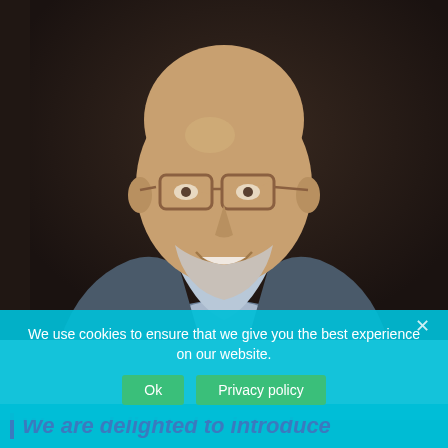[Figure (photo): Professional headshot of a bald middle-aged man wearing glasses and a grey-blue suit jacket over a light blue collared shirt, smiling, against a dark brown background.]
We use cookies to ensure that we give you the best experience on our website.
Ok   Privacy policy
We are delighted to introduce